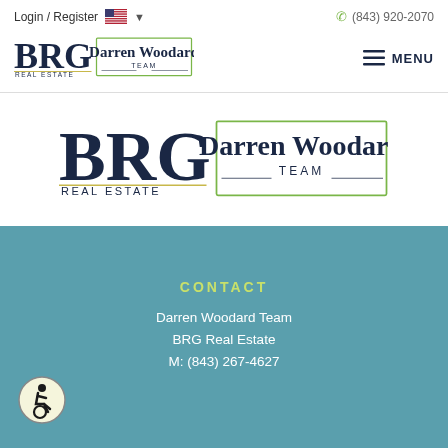Login / Register  (843) 920-2070
[Figure (logo): BRG Real Estate - Darren Woodard Team logo in header, with MENU hamburger icon]
[Figure (logo): BRG Real Estate - Darren Woodard Team logo, larger centered version]
CONTACT
Darren Woodard Team
BRG Real Estate
M: (843) 267-4627